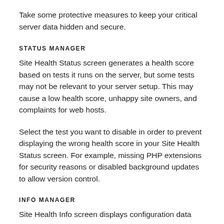Take some protective measures to keep your critical server data hidden and secure.
STATUS MANAGER
Site Health Status screen generates a health score based on tests it runs on the server, but some tests may not be relevant to your server setup. This may cause a low health score, unhappy site owners, and complaints for web hosts.
Select the test you want to disable in order to prevent displaying the wrong health score in your Site Health Status screen. For example, missing PHP extensions for security reasons or disabled background updates to allow version control.
INFO MANAGER
Site Health Info screen displays configuration data